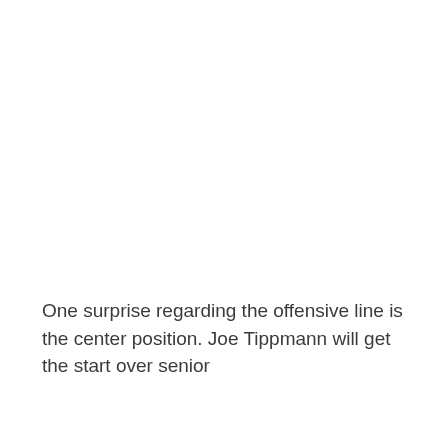One surprise regarding the offensive line is the center position. Joe Tippmann will get the start over senior